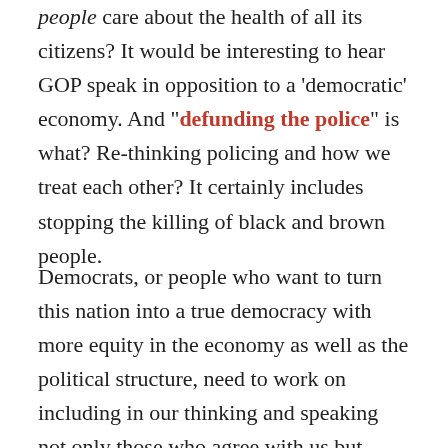people care about the health of all its citizens? It would be interesting to hear GOP speak in opposition to a 'democratic' economy. And "defunding the police" is what? Re-thinking policing and how we treat each other? It certainly includes stopping the killing of black and brown people.
Democrats, or people who want to turn this nation into a true democracy with more equity in the economy as well as the political structure, need to work on including in our thinking and speaking not only those who agree with us but those who might agree with us if they listened. Not the committed